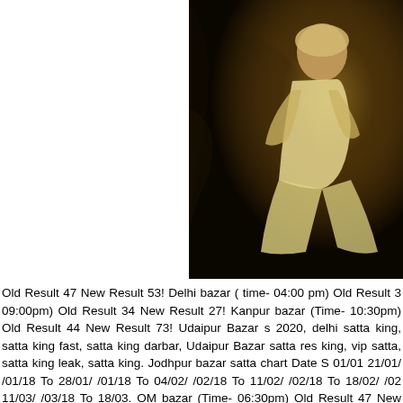[Figure (photo): Sepia-toned photograph of a person seated, wearing white clothing, with dark background foliage. Image is cropped on the left portion of the upper page area.]
Old Result 47 New Result 53! Delhi bazar ( time- 04:00 pm) Old Result 3 09:00pm) Old Result 34 New Result 27! Kanpur bazar (Time- 10:30pm) Old Result 44 New Result 73! Udaipur Bazar s 2020, delhi satta king, satta king fast, satta king darbar, Udaipur Bazar satta res king, vip satta, satta king leak, satta king. Jodhpur bazar satta chart Date S 01/01 21/01/ /01/18 To 28/01/ /01/18 To 04/02/ /02/18 To 11/02/ /02/18 To 18/02/ /02 11/03/ /03/18 To 18/03. OM bazar (Time- 06:30pm) Old Result 47 New Result aGRA special (09:00pm) Ravi Bhai.12000/- Per Game, gALI 72 (10:40pm) Ra (Time- 09:00pm) Old Result 34 New Result 27! Ghaziabad, time:- 08:00 PM, ol